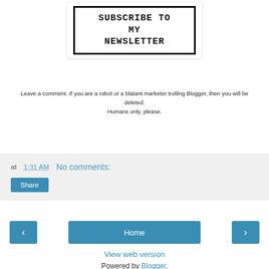[Figure (other): Subscribe to my newsletter button with bold bordered box styling]
Leave a comment. If you are a robot or a blatant marketer trolling Blogger, then you will be deleted. Humans only, please.
at 1:31 AM   No comments:
Share
< Home >
View web version
Powered by Blogger.